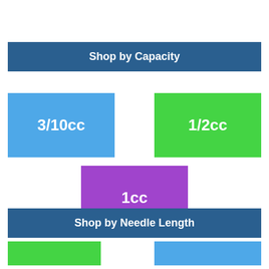Shop by Capacity
[Figure (infographic): Three colored tiles showing syringe capacity options: 3/10cc (blue), 1/2cc (green), 1cc (purple)]
Shop by Needle Length
[Figure (infographic): Partial view of colored tiles for needle length options, green and blue tiles visible at bottom]